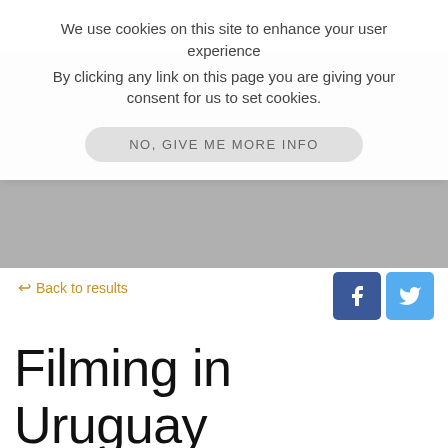[Figure (screenshot): Gray hero/banner image area with website navigation bar partially visible]
We use cookies on this site to enhance your user experience
By clicking any link on this page you are giving your consent for us to set cookies.
NO, GIVE ME MORE INFO
← Back to results
Filming in Uruguay